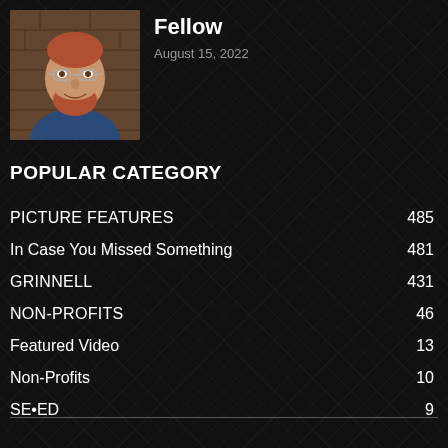[Figure (photo): Profile photo of a man with red beard and glasses, wearing a blue shirt, against a brick wall background]
Fellow
August 15, 2022
POPULAR CATEGORY
PICTURE FEATURES   485
In Case You Missed Something   481
GRINNELL   431
NON-PROFITS   46
Featured Video   13
Non-Profits   10
SE•ED   9